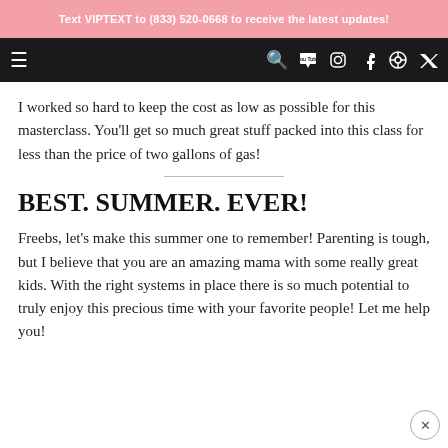Text VIPTEXT to (833) 520-0668 to receive the latest updates!
navigation bar with menu, search, YouTube, Instagram, Facebook, Pinterest, Twitter icons
I worked so hard to keep the cost as low as possible for this masterclass. You'll get so much great stuff packed into this class for less than the price of two gallons of gas!
BEST. SUMMER. EVER!
Freebs, let's make this summer one to remember! Parenting is tough, but I believe that you are an amazing mama with some really great kids. With the right systems in place there is so much potential to truly enjoy this precious time with your favorite people! Let me help you!